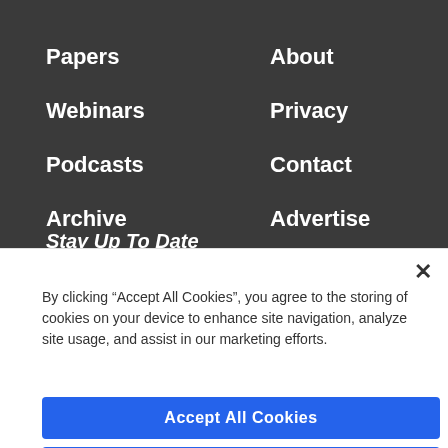Papers
About
Webinars
Privacy
Podcasts
Contact
Archive
Advertise
Stay Up To Date
Get smart with Governing. Where government is going in
By clicking “Accept All Cookies”, you agree to the storing of cookies on your device to enhance site navigation, analyze site usage, and assist in our marketing efforts.
Accept All Cookies
Reject All
Cookies Settings